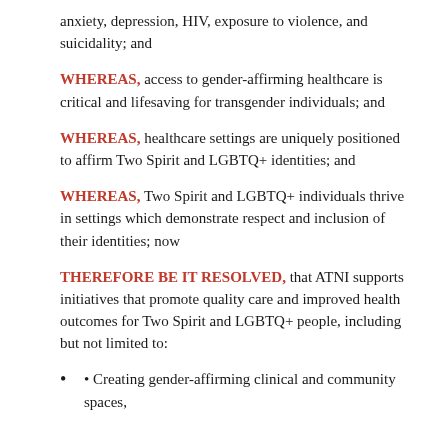anxiety, depression, HIV, exposure to violence, and suicidality; and
WHEREAS, access to gender-affirming healthcare is critical and lifesaving for transgender individuals; and
WHEREAS, healthcare settings are uniquely positioned to affirm Two Spirit and LGBTQ+ identities; and
WHEREAS, Two Spirit and LGBTQ+ individuals thrive in settings which demonstrate respect and inclusion of their identities; now
THEREFORE BE IT RESOLVED, that ATNI supports initiatives that promote quality care and improved health outcomes for Two Spirit and LGBTQ+ people, including but not limited to:
• Creating gender-affirming clinical and community spaces,